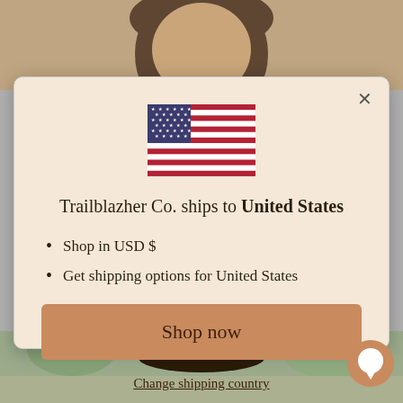[Figure (photo): Top portion of a person with brown hair, background visible above modal]
[Figure (screenshot): Shipping country modal dialog with US flag, title, bullet points, shop now button, and change shipping country link]
Trailblazher Co. ships to United States
Shop in USD $
Get shipping options for United States
Shop now
Change shipping country
[Figure (photo): Bottom portion showing person with cowboy hat, outdoor background]